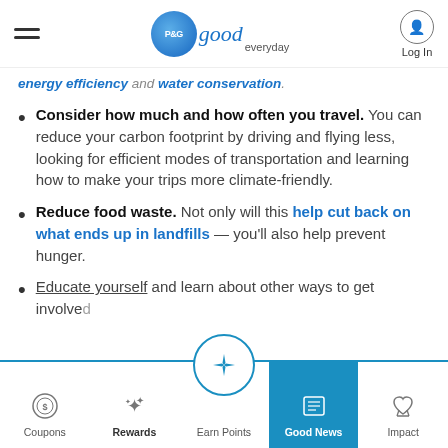P&G good everyday | Log In
energy efficiency and water conservation.
Consider how much and how often you travel. You can reduce your carbon footprint by driving and flying less, looking for efficient modes of transportation and learning how to make your trips more climate-friendly.
Reduce food waste. Not only will this help cut back on what ends up in landfills — you'll also help prevent hunger.
Educate yourself and learn about other ways to get involved.
Coupons | Rewards | Earn Points | Good News | Impact